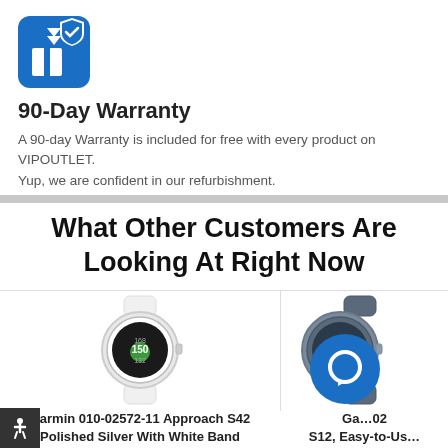[Figure (logo): Blue shield with a box/package icon and double arrows, representing warranty/protection]
90-Day Warranty
A 90-day Warranty is included for free with every product on VIPOUTLET. Yup, we are confident in our refurbishment.
What Other Customers Are Looking At Right Now
[Figure (photo): Garmin Approach S42 golf GPS watch, polished silver with white band, showing 168/150/132 yardages on display]
Garmin 010-02572-11 Approach S42 Polished Silver With White Band
[Figure (photo): Partial view of a Garmin S12 golf GPS watch, dark/slate colored, partially obscured by a chat button overlay]
Ga...02 S12, Easy-to-Us... Preloaded Cou...